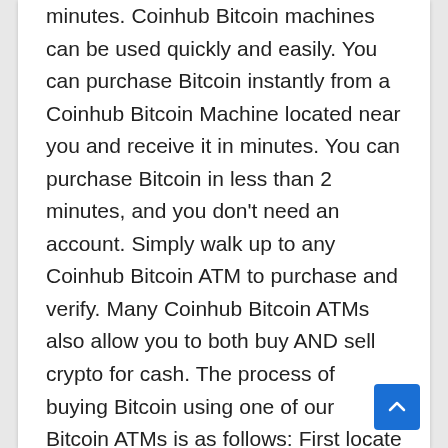minutes. Coinhub Bitcoin machines can be used quickly and easily. You can purchase Bitcoin instantly from a Coinhub Bitcoin Machine located near you and receive it in minutes. You can purchase Bitcoin in less than 2 minutes, and you don't need an account. Simply walk up to any Coinhub Bitcoin ATM to purchase and verify. Many Coinhub Bitcoin ATMs also allow you to both buy AND sell crypto for cash. The process of buying Bitcoin using one of our Bitcoin ATMs is as follows: First locate the closest Bitcoin ATM near you in your city by visiting our Coinhub Bitcoin ATM Locator. Walk up to the machine and enter your phone number. You will then verify your phone with a code and scan your bitcoin wallet. Enter each bill one at a time to determine the amount you wish to purchase. After that, confirm the purchase by entering the bitcoin atm. Bitcoin is then instantly sent to your wallet. The daily limit for buying Bitcoin is $25,000. There are Bitcoin